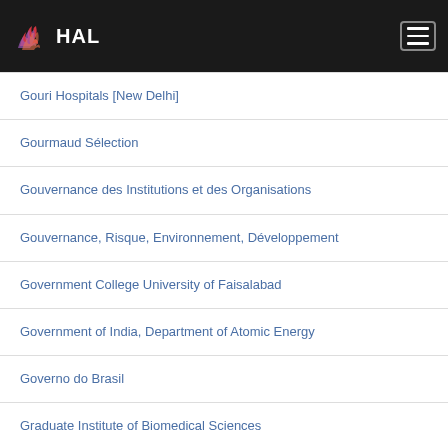HAL
Gouri Hospitals [New Delhi]
Gourmaud Sélection
Gouvernance des Institutions et des Organisations
Gouvernance, Risque, Environnement, Développement
Government College University of Faisalabad
Government of India, Department of Atomic Energy
Governo do Brasil
Graduate Institute of Biomedical Sciences
Graduate Institute of Biomedical Sciences; Sex Hormone Research Center
Graduate Program in Molecular Virology